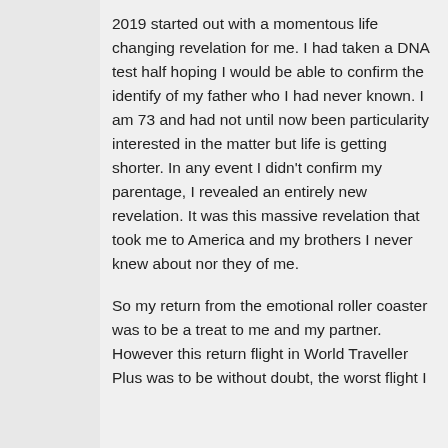2019 started out with a momentous life changing revelation for me. I had taken a DNA test half hoping I would be able to confirm the identify of my father who I had never known. I am 73 and had not until now been particularity interested in the matter but life is getting shorter. In any event I didn't confirm my parentage, I revealed an entirely new revelation. It was this massive revelation that took me to America and my brothers I never knew about nor they of me.
So my return from the emotional roller coaster was to be a treat to me and my partner. However this return flight in World Traveller Plus was to be without doubt, the worst flight I